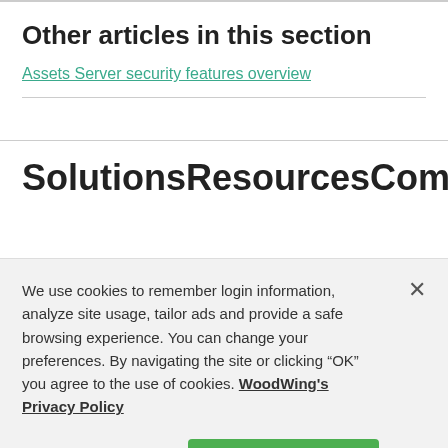Other articles in this section
Assets Server security features overview
SolutionsResourcesCompanyTe
We use cookies to remember login information, analyze site usage, tailor ads and provide a safe browsing experience. You can change your preferences. By navigating the site or clicking “OK” you agree to the use of cookies. WoodWing’s Privacy Policy
Change Settings
OK